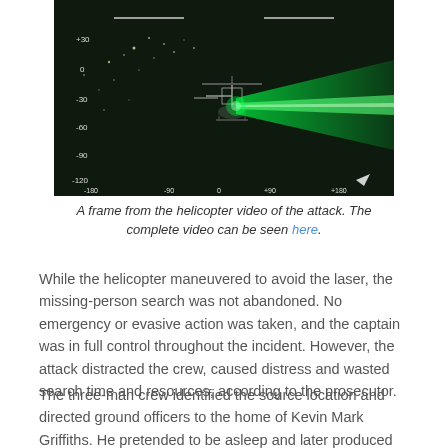[Figure (screenshot): A night-vision/thermal helicopter video frame showing a helicopter with a bright green laser beam aimed at it from the ground, with targeting overlays and altitude/angle indicators on a dark background.]
A frame from the helicopter video of the attack. The complete video can be seen here.
While the helicopter maneuvered to avoid the laser, the missing-person search was not abandoned. No emergency or evasive action was taken, and the captain was in full control throughout the incident. However, the attack distracted the crew, caused distress and wasted search time and resources, according to the prosecutor.
The three-man crew identified the source location and directed ground officers to the home of Kevin Mark Griffiths. He pretended to be asleep and later produced the